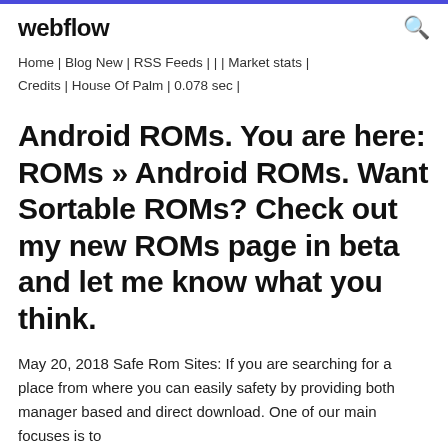webflow
Home | Blog New | RSS Feeds | | | Market stats | Credits | House Of Palm | 0.078 sec |
Android ROMs. You are here: ROMs » Android ROMs. Want Sortable ROMs? Check out my new ROMs page in beta and let me know what you think.
May 20, 2018 Safe Rom Sites: If you are searching for a place from where you can easily safety by providing both manager based and direct download. One of our main focuses is to